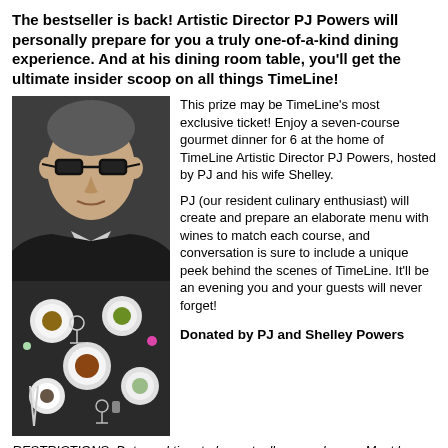The bestseller is back! Artistic Director PJ Powers will personally prepare for you a truly one-of-a-kind dining experience. And at his dining room table, you'll get the ultimate insider scoop on all things TimeLine!
[Figure (photo): Portrait of a middle-aged man with glasses and grey-streaked hair, wearing a dark jacket.]
[Figure (photo): Overhead view of an elaborate gourmet dinner table setting with multiple plates, glasses, cutlery, and food dishes.]
This prize may be TimeLine's most exclusive ticket! Enjoy a seven-course gourmet dinner for 6 at the home of TimeLine Artistic Director PJ Powers, hosted by PJ and his wife Shelley.
PJ (our resident culinary enthusiast) will create and prepare an elaborate menu with wines to match each course, and conversation is sure to include a unique peek behind the scenes of TimeLine. It'll be an evening you and your guests will never forget!
Donated by PJ and Shelley Powers
RESTRICTIONS: Date and time to be mutually agreed upon. Must be redeemed by February 2018.